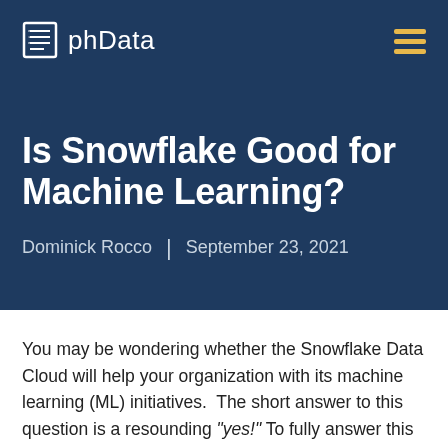phData
Is Snowflake Good for Machine Learning?
Dominick Rocco | September 23, 2021
You may be wondering whether the Snowflake Data Cloud will help your organization with its machine learning (ML) initiatives.  The short answer to this question is a resounding “yes!” To fully answer this question, however it’s important to